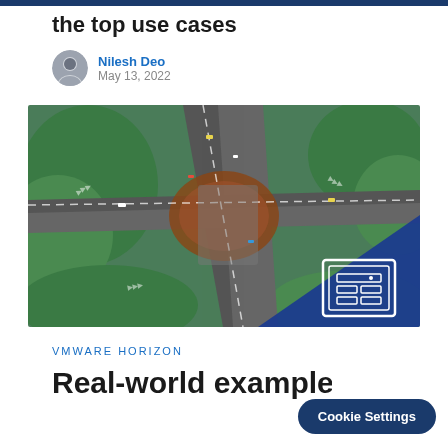the top use cases
Nilesh Deo
May 13, 2022
[Figure (photo): Aerial view of a complex multi-level highway interchange surrounded by green trees, with a blue VMware-branded overlay in the bottom-right corner showing a server/network icon.]
VMware Horizon
Real-world examples o…